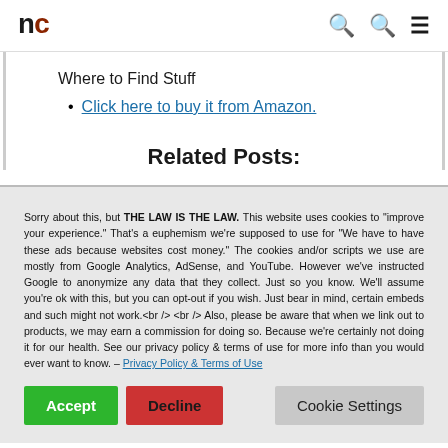nc — header with search and menu icons
Where to Find Stuff
Click here to buy it from Amazon.
Related Posts:
Sorry about this, but THE LAW IS THE LAW. This website uses cookies to "improve your experience." That's a euphemism we're supposed to use for "We have to have these ads because websites cost money." The cookies and/or scripts we use are mostly from Google Analytics, AdSense, and YouTube. However we've instructed Google to anonymize any data that they collect. Just so you know. We'll assume you're ok with this, but you can opt-out if you wish. Just bear in mind, certain embeds and such might not work.<br /> <br /> Also, please be aware that when we link out to products, we may earn a commission for doing so. Because we're certainly not doing it for our health. See our privacy policy & terms of use for more info than you would ever want to know. – Privacy Policy & Terms of Use
Accept | Decline | Cookie Settings